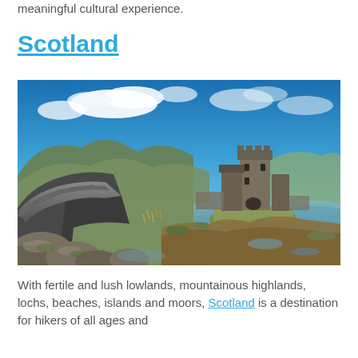meaningful cultural experience.
Scotland
[Figure (photo): Eilean Donan Castle in Scotland, viewed from a stone bridge with water and rocky shoreline in the foreground, mountains and blue sky in the background.]
With fertile and lush lowlands, mountainous highlands, lochs, beaches, islands and moors, Scotland is a destination for hikers of all ages and